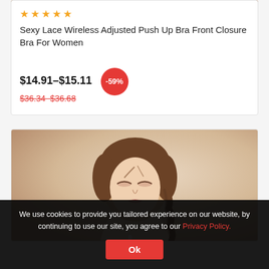[Figure (photo): Product listing card top portion showing star rating, product title, price, and discount badge]
★★★★★
Sexy Lace Wireless Adjusted Push Up Bra Front Closure Bra For Women
$14.91–$15.11  -59%  $36.34 $36.68
[Figure (photo): Woman with braided hair looking down, wearing a white bra strap, warm beige background]
We use cookies to provide you tailored experience on our website, by continuing to use our site, you agree to our Privacy Policy. Ok